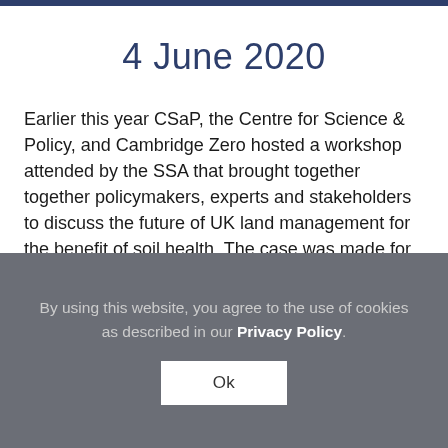4 June 2020
Earlier this year CSaP, the Centre for Science & Policy, and Cambridge Zero hosted a workshop attended by the SSA that brought together together policymakers, experts and stakeholders to discuss the future of UK land management for the benefit of soil health. The case was made for ‘spatially explicit’ land/soil management strategies, taking land use data available...
By using this website, you agree to the use of cookies as described in our Privacy Policy.
Ok